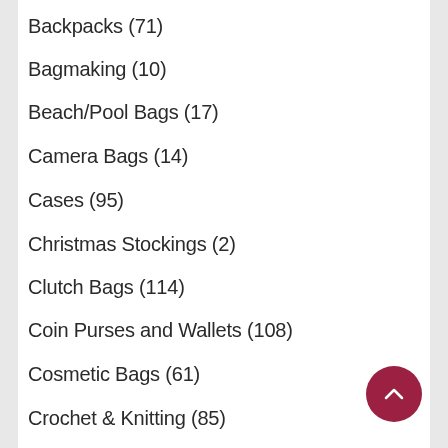Backpacks (71)
Bagmaking (10)
Beach/Pool Bags (17)
Camera Bags (14)
Cases (95)
Christmas Stockings (2)
Clutch Bags (114)
Coin Purses and Wallets (108)
Cosmetic Bags (61)
Crochet & Knitting (85)